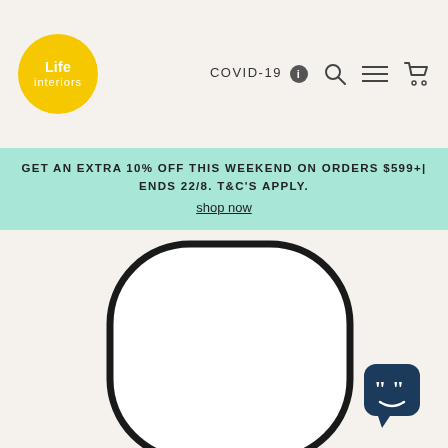Life Interiors
COVID-19
GET AN EXTRA 10% OFF THIS WEEKEND ON ORDERS $599+| ENDS 22/8. T&C'S APPLY. shop now
[Figure (photo): A white rounded-rectangle mirror with a thin black frame, shown on a cream/beige background. The mirror is centered and takes up most of the lower portion of the page.]
[Figure (illustration): Chat/support widget icon in the bottom-right corner: dark navy rounded square with a speech bubble containing quotation marks and a simple smiley face.]